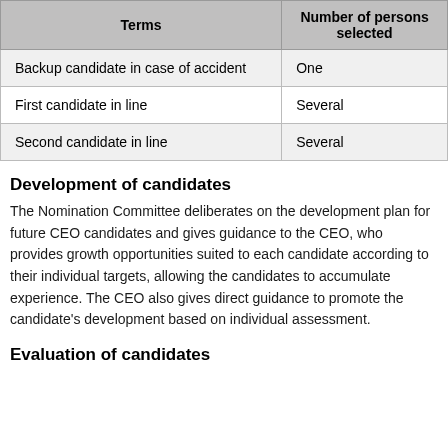| Terms | Number of persons selected |
| --- | --- |
| Backup candidate in case of accident | One |
| First candidate in line | Several |
| Second candidate in line | Several |
Development of candidates
The Nomination Committee deliberates on the development plan for future CEO candidates and gives guidance to the CEO, who provides growth opportunities suited to each candidate according to their individual targets, allowing the candidates to accumulate experience. The CEO also gives direct guidance to promote the candidate's development based on individual assessment.
Evaluation of candidates